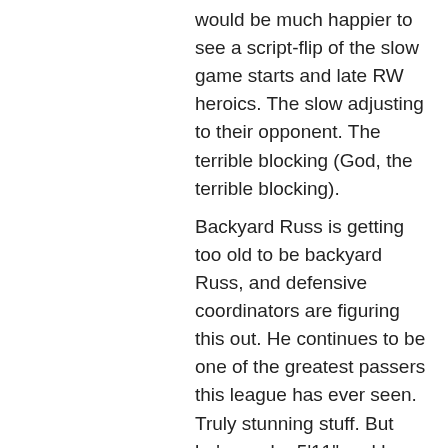would be much happier to see a script-flip of the slow game starts and late RW heroics. The slow adjusting to their opponent. The terrible blocking (God, the terrible blocking). Backyard Russ is getting too old to be backyard Russ, and defensive coordinators are figuring this out. He continues to be one of the greatest passers this league has ever seen. Truly stunning stuff. But he's maybe 5'11" and he goes through his receiver progressions longer than any QB I've seen, and that's an issue because he's not scrambling out of trouble like he used to. 6'4" 43 year-old Tom Brady yelled at most of his offensive teammates early this season (because he expects perfection) and he and the Bucs are playing in their second playoff game next week. Not too much "Golly gee whiz, we're having fun!" in Tom Brady. Just a guy who is constantly looking at his